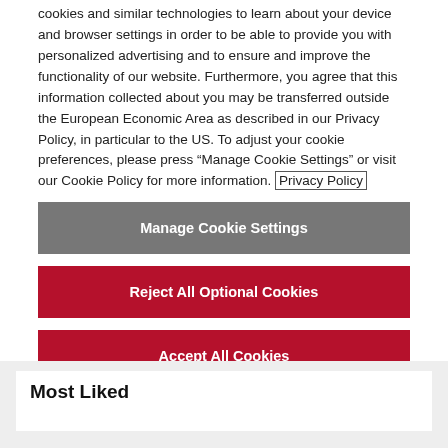cookies and similar technologies to learn about your device and browser settings in order to be able to provide you with personalized advertising and to ensure and improve the functionality of our website. Furthermore, you agree that this information collected about you may be transferred outside the European Economic Area as described in our Privacy Policy, in particular to the US. To adjust your cookie preferences, please press “Manage Cookie Settings” or visit our Cookie Policy for more information. Privacy Policy
Manage Cookie Settings
Reject All Optional Cookies
Accept All Cookies
Most Liked